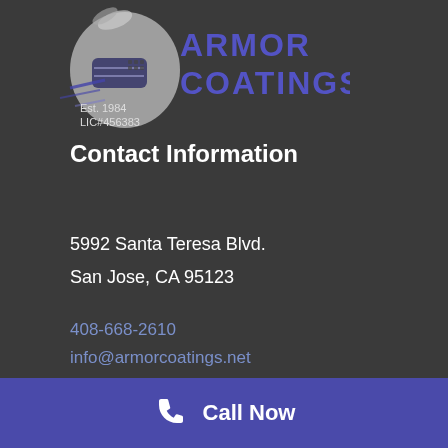[Figure (logo): Armor Coatings logo with knight helmet graphic and text 'ARMOR COATINGS Est. 1984 LIC#456383']
Contact Information
5992 Santa Teresa Blvd.
San Jose, CA 95123
408-668-2610
info@armorcoatings.net
Call Now